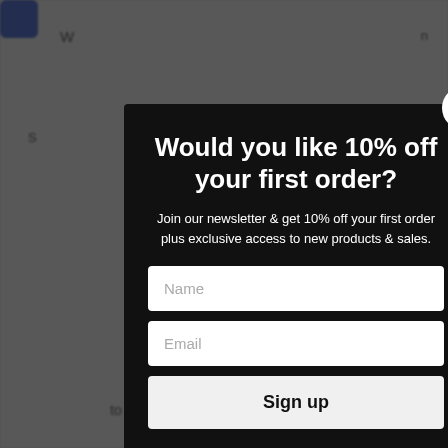[Figure (screenshot): E-commerce website newsletter signup popup modal with black background. Title reads 'Would you like 10% off your first order?'. Subtitle text reads 'Join our newsletter & get 10% off your first order plus exclusive access to new products & sales.' Contains two input fields (Name, Email) and a Sign up button. A close (X) button appears at top-right of modal. Background shows dimmed/blurred webpage content.]